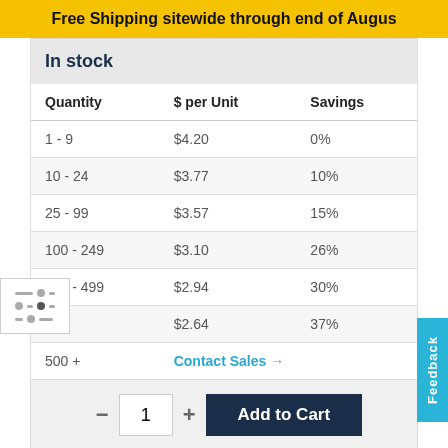Free Shipping sitewide through end of August
In stock
| Quantity | $ per Unit | Savings |
| --- | --- | --- |
| 1 - 9 | $4.20 | 0% |
| 10 - 24 | $3.77 | 10% |
| 25 - 99 | $3.57 | 15% |
| 100 - 249 | $3.10 | 26% |
| 250 - 499 | $2.94 | 30% |
| 500 | $2.64 | 37% |
| 500 + | Contact Sales → |  |